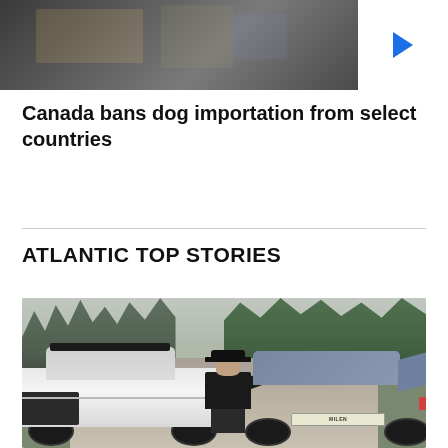[Figure (photo): Top image showing a blurred indoor scene, partially obscured, with a play button overlay on the right side indicating a video thumbnail.]
Canada bans dog importation from select countries
ATLANTIC TOP STORIES
[Figure (photo): A police officer standing between a white police Ford sedan and a grey civilian SUV on a gravel road surrounded by bare trees and evergreens. The officer appears to be checking documents or speaking to the driver of the grey vehicle. A license plate reading MILEN is visible on the grey car.]